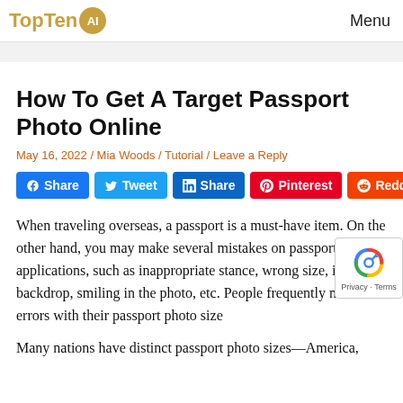TopTen AI | Menu
How To Get A Target Passport Photo Online
May 16, 2022 / Mia Woods / Tutorial / Leave a Reply
[Figure (infographic): Social sharing buttons: Facebook Share, Tweet, LinkedIn Share, Pinterest, Reddit]
When traveling overseas, a passport is a must-have item. On the other hand, you may make several mistakes on passport applications, such as inappropriate stance, wrong size, incorrect backdrop, smiling in the photo, etc. People frequently make errors with their passport photo size
Many nations have distinct passport photo sizes—America,